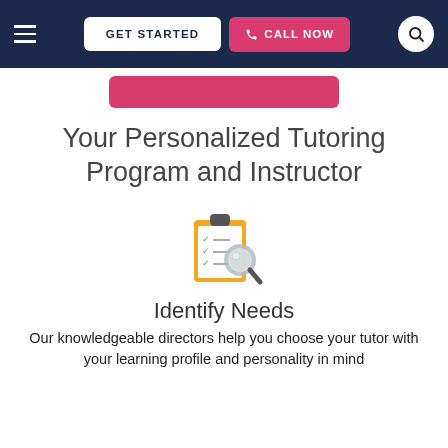GET STARTED | CALL NOW
[Figure (screenshot): Pink button partial view below nav bar]
Your Personalized Tutoring Program and Instructor
[Figure (illustration): Clipboard with checklist and magnifying glass icon]
Identify Needs
Our knowledgeable directors help you choose your tutor with your learning profile and personality in mind